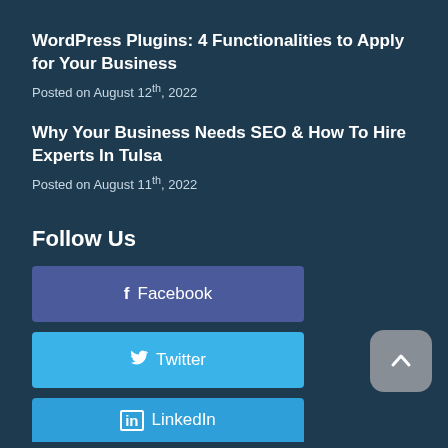WordPress Plugins: 4 Functionalities to Apply for Your Business
Posted on August 12th, 2022
Why Your Business Needs SEO & How To Hire Experts In Tulsa
Posted on August 11th, 2022
Follow Us
f Facebook
Twitter
in LinkedIn